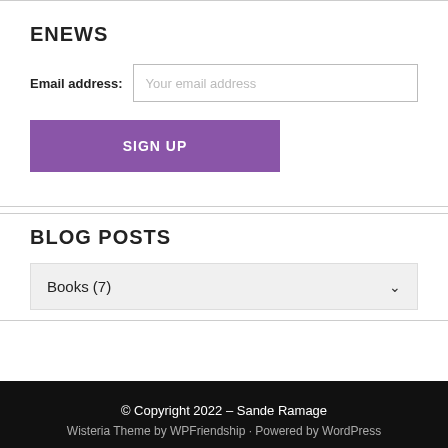ENEWS
Email address: Your email address
SIGN UP
BLOG POSTS
Books  (7)
© Copyright 2022 – Sande Ramage
Wisteria Theme by WPFriendship · Powered by WordPress